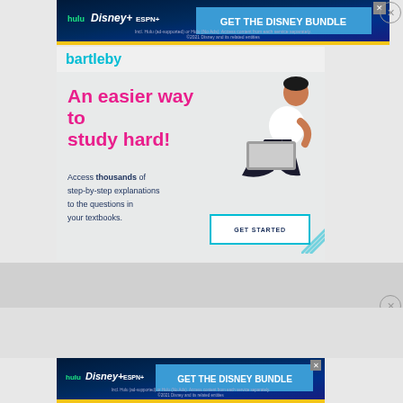[Figure (screenshot): Disney Bundle advertisement banner at top with Hulu, Disney+, ESPN+ logos and 'GET THE DISNEY BUNDLE' button on dark blue background with disclaimer text]
[Figure (screenshot): Bartleby educational advertisement: 'An easier way to study hard!' headline in pink, 'Access thousands of step-by-step explanations to the questions in your textbooks.' text in dark blue, GET STARTED button, person studying illustration]
[Figure (screenshot): Disney Bundle advertisement banner at bottom, same as top banner]